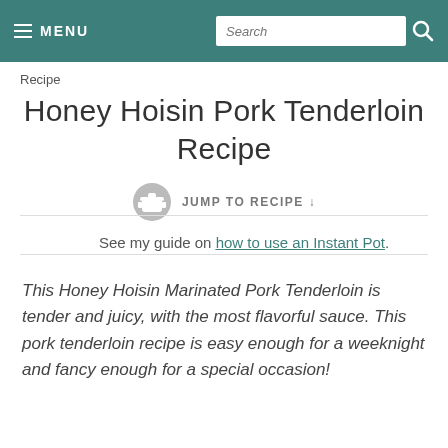MENU | Search
Recipe
Honey Hoisin Pork Tenderloin Recipe
JUMP TO RECIPE ↓
See my guide on how to use an Instant Pot.
This Honey Hoisin Marinated Pork Tenderloin is tender and juicy, with the most flavorful sauce. This pork tenderloin recipe is easy enough for a weeknight and fancy enough for a special occasion!